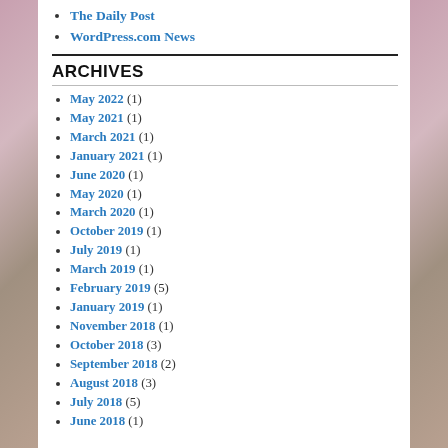The Daily Post
WordPress.com News
ARCHIVES
May 2022 (1)
May 2021 (1)
March 2021 (1)
January 2021 (1)
June 2020 (1)
May 2020 (1)
March 2020 (1)
October 2019 (1)
July 2019 (1)
March 2019 (1)
February 2019 (5)
January 2019 (1)
November 2018 (1)
October 2018 (3)
September 2018 (2)
August 2018 (3)
July 2018 (5)
June 2018 (1)